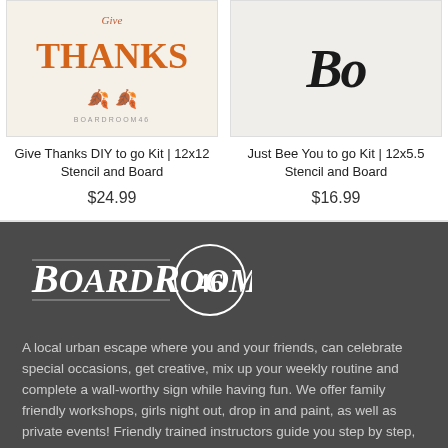[Figure (photo): Give Thanks DIY kit product image showing orange THANKS text on a cream board with leaf decorations]
Give Thanks DIY to go Kit | 12x12 Stencil and Board
$24.99
[Figure (photo): Just Bee You DIY kit product image showing decorative text on a light board]
Just Bee You to go Kit | 12x5.5 Stencil and Board
$16.99
[Figure (logo): BoardRoom46 logo in white decorative serif font with a circle around 46]
A local urban escape where you and your friends, can celebrate special occasions, get creative, mix up your weekly routine and complete a wall-worthy sign while having fun. We offer family friendly workshops, girls night out, drop in and paint, as well as private events! Friendly trained instructors guide you step by step, you choose the stain, paint colors and personalization!